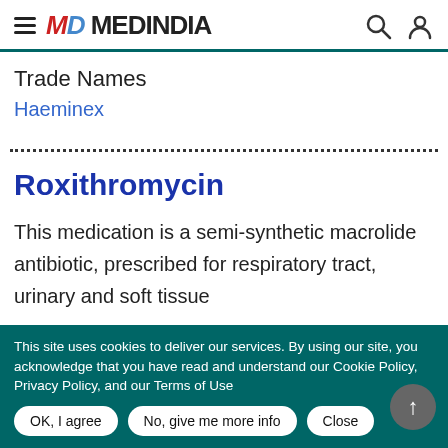MEDINDIA
Trade Names
Haeminex
Roxithromycin
This medication is a semi-synthetic macrolide antibiotic, prescribed for respiratory tract, urinary and soft tissue
This site uses cookies to deliver our services. By using our site, you acknowledge that you have read and understand our Cookie Policy, Privacy Policy, and our Terms of Use